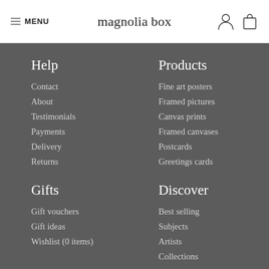≡ MENU   magnolia box
Help
Contact
About
Testimonials
Payments
Delivery
Returns
Products
Fine art posters
Framed pictures
Canvas prints
Framed canvases
Postcards
Greetings cards
Gifts
Gift vouchers
Gift ideas
Wishlist (0 items)
Discover
Best selling
Subjects
Artists
Collections